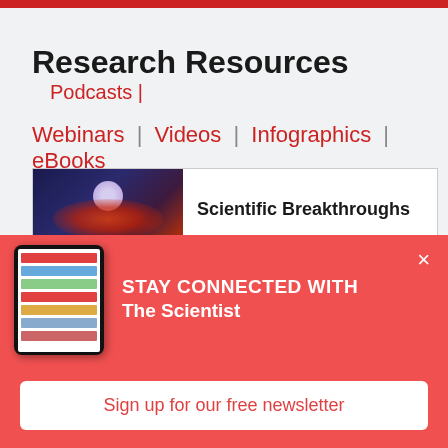Research Resources | Podcasts | Webinars | Videos | Infographics | eBooks
Research Resources
Podcasts | Webinars | Videos | Infographics | eBooks
[Figure (screenshot): Article preview with dark space/biology image and heading 'Scientific Breakthroughs']
STAY CONNECTED WITH The Scientist
Get The Scientist Daily, the free daily newsletter from The Scientist
Sign up for our free newsletter